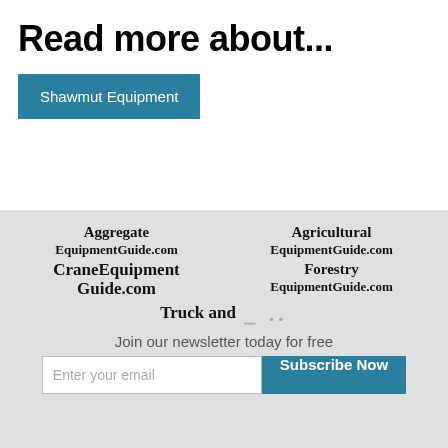Read more about...
Shawmut Equipment
[Figure (logo): AggregateEquipmentGuide.com logo]
[Figure (logo): AgriculturalEquipmentGuide.com logo]
[Figure (logo): CraneEquipmentGuide.com logo]
[Figure (logo): ForestryEquipmentGuide.com logo]
[Figure (logo): Truck and ... logo (partially visible)]
Join our newsletter today for free
Enter your email / Subscribe Now